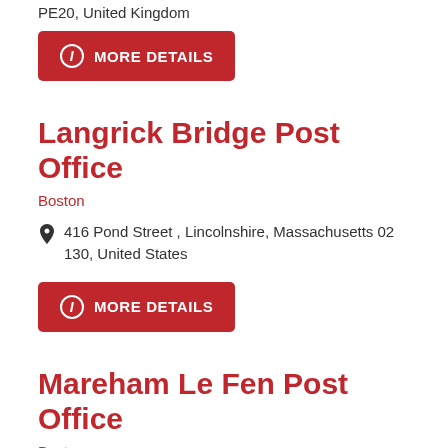PE20, United Kingdom
MORE DETAILS
Langrick Bridge Post Office
Boston
416 Pond Street , Lincolnshire, Massachusetts 02130, United States
MORE DETAILS
Mareham Le Fen Post Office
Boston
Boston, England PE21, United